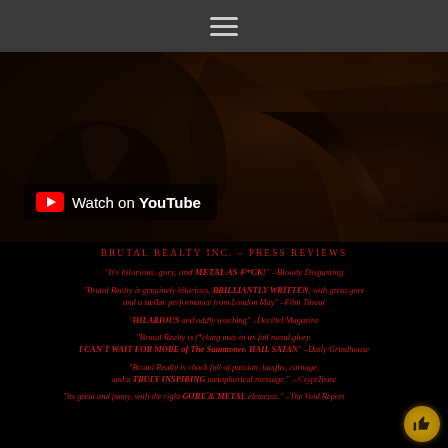☰
[Figure (screenshot): Dark video thumbnail showing a person in dark clothing, with a YouTube 'Watch on YouTube' badge overlay in the lower left]
BRUTAL REALTY INC. – Press Reviews
"It's hilarious, gory, and METAL AS F*CK!" –Bloody Disgusting
"Brutal Realty is genuinely hilarious, BRILLIANTLY WRITTEN, with great gore and a stellar performance from London May" –Film Threat
"HILARIOUS and oddly touching" –Decibel Magazine
"Brutal Realty is f*cking nuts in its full metal glory. I CAN'T WAIT FOR MORE of The Summoner. HAIL SATAN" –Daily Grindhouse
"Brutal Realty is chock full of passion, laughs, carnage, and a TRULY INSPIRING metaphorical message." – CryptTeaze
"Its great and funny, with the right GORE & METAL elements." –The Void Report